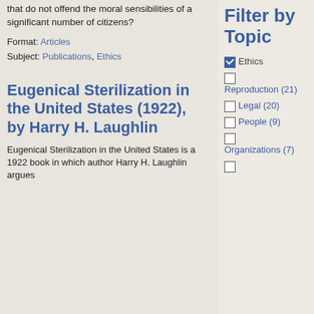that do not offend the moral sensibilities of a significant number of citizens?
Format: Articles
Subject: Publications, Ethics
Eugenical Sterilization in the United States (1922), by Harry H. Laughlin
Eugenical Sterilization in the United States is a 1922 book in which author Harry H. Laughlin argues
Filter by Topic
Ethics (checked)
Reproduction (21)
Legal (20)
People (9)
Organizations (7)